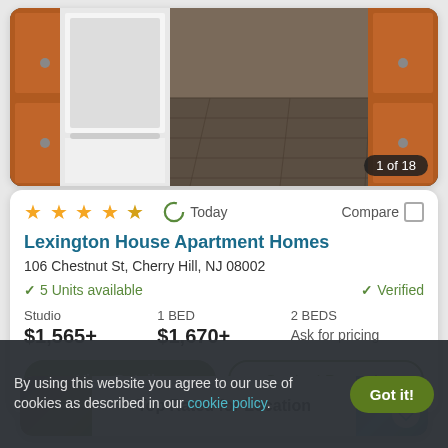[Figure (photo): Kitchen interior with wood cabinets and tile floor, image 1 of 18]
★★★★★ Today Compare
Lexington House Apartment Homes
106 Chestnut St, Cherry Hill, NJ 08002
✓ 5 Units available   ✓ Verified
Studio $1,565+   1 BED $1,670+   2 BEDS Ask for pricing
View Details   Contact Property
Top Rated for Location
By using this website you agree to our use of cookies as described in our cookie policy.
Got it!